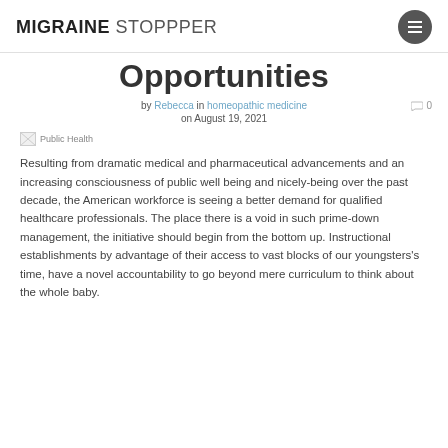MIGRAINE STOPPPER
Opportunities
by Rebecca in homeopathic medicine on August 19, 2021  0
[Figure (photo): Public Health image placeholder]
Resulting from dramatic medical and pharmaceutical advancements and an increasing consciousness of public well being and nicely-being over the past decade, the American workforce is seeing a better demand for qualified healthcare professionals. The place there is a void in such prime-down management, the initiative should begin from the bottom up. Instructional establishments by advantage of their access to vast blocks of our youngsters's time, have a novel accountability to go beyond mere curriculum to think about the whole baby.